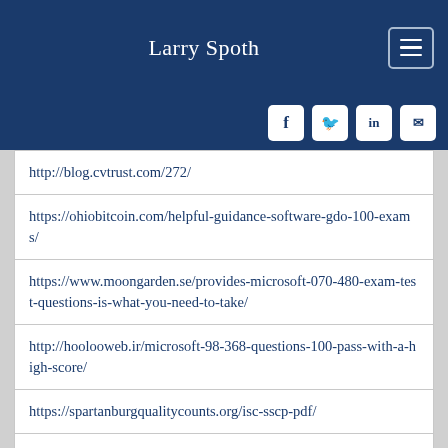Larry Spoth
| http://blog.cvtrust.com/272/ |
| https://ohiobitcoin.com/helpful-guidance-software-gdo-100-exams/ |
| https://www.moongarden.se/provides-microsoft-070-480-exam-test-questions-is-what-you-need-to-take/ |
| http://hoolooweb.ir/microsoft-98-368-questions-100-pass-with-a-high-score/ |
| https://spartanburgqualitycounts.org/isc-sscp-pdf/ |
| https://www.uiowamarket.com/the-most-effective-iseb-fcba-exams-sale/ |